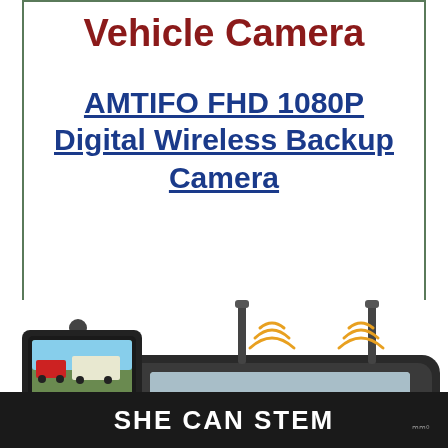Vehicle Camera
AMTIFO FHD 1080P Digital Wireless Backup Camera
[Figure (photo): Product photo of AMTIFO FHD 1080P Digital Wireless Backup Camera monitor with HD 1080P label, two antennas with wireless signal icons, and a small screen showing a truck and RV scene]
SHE CAN STEM